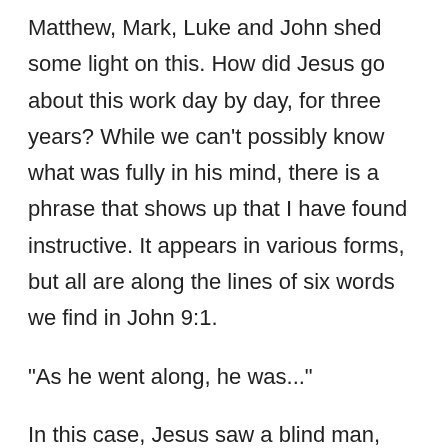Matthew, Mark, Luke and John shed some light on this. How did Jesus go about this work day by day, for three years? While we can't possibly know what was fully in his mind, there is a phrase that shows up that I have found instructive. It appears in various forms, but all are along the lines of six words we find in John 9:1.
“As he went along, he was...”
In this case, Jesus saw a blind man, and stopped to heal him. There is no indications that Jesus